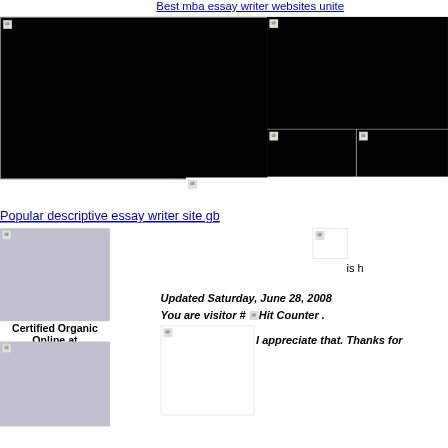Best mba essay writer websites unite
[Figure (photo): Large black image placeholder with small image icon top-left]
[Figure (photo): Wide black image placeholder on the right, top]
[Figure (photo): Small black image placeholder, lower right area left]
[Figure (photo): Small black image placeholder, lower right area right]
[Figure (photo): Middle strip image placeholder]
Popular descriptive essay writer site gb
[Figure (photo): Lavender/grey image box, bottom left]
Certified Organic Online at
[Figure (photo): Second lavender/grey image box, bottom left]
[Figure (photo): Small image placeholder, bottom right area]
is h
Updated Saturday, June 28, 2008
You are visitor # [Hit Counter] .
[Figure (photo): Image placeholder bottom right large]
I appreciate that.  Thanks for